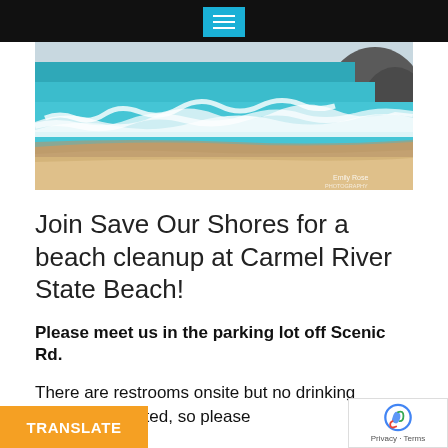[Figure (photo): Beach photo showing ocean waves with white foam cresting onto sandy shore, with rocks visible in background. Photo credit: Emily Rose]
Join Save Our Shores for a beach cleanup at Carmel River State Beach!
Please meet us in the parking lot off Scenic Rd.
There are restrooms onsite but no drinking [water?]. Parking may be limited, so please [arrive early?].